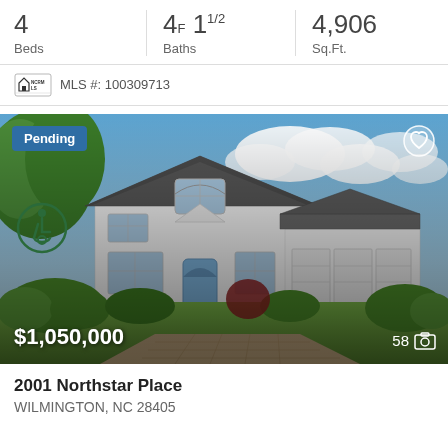| Beds | Baths | Sq.Ft. |
| --- | --- | --- |
| 4 | 4F 1½ | 4,906 |
MLS #: 100309713
[Figure (photo): Exterior photo of a large two-story white colonial home with a brick paver driveway, three-car garage, landscaped shrubs and trees, blue sky with clouds. Status badge: Pending. Price: $1,050,000. Photo count: 58.]
2001 Northstar Place
WILMINGTON, NC 28405